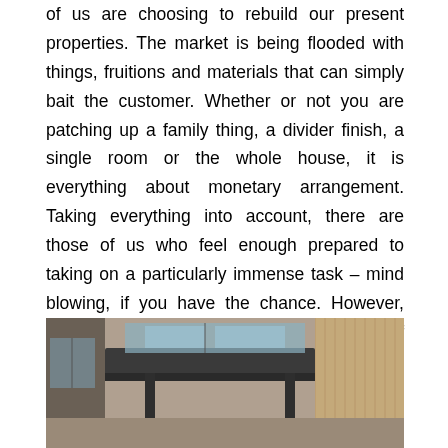of us are choosing to rebuild our present properties. The market is being flooded with things, fruitions and materials that can simply bait the customer. Whether or not you are patching up a family thing, a divider finish, a single room or the whole house, it is everything about monetary arrangement. Taking everything into account, there are those of us who feel enough prepared to taking on a particularly immense task – mind blowing, if you have the chance. However, decision, purchasing and taking care of materials and the executives of work is no cakewalk. Presently are the ideal time exhausting, disillusioning and a resilience testing exercise? Of course, you are ensured of a motivating force for money. Remember; reliably buy too as can be considered typical bear the expense of – it will function admirably for you as time goes on.
[Figure (photo): Photo of a modern building exterior with a dark metal overhang/canopy and glass windows, viewed from below at an angle, with wooden slatted wall panels visible on the right side.]